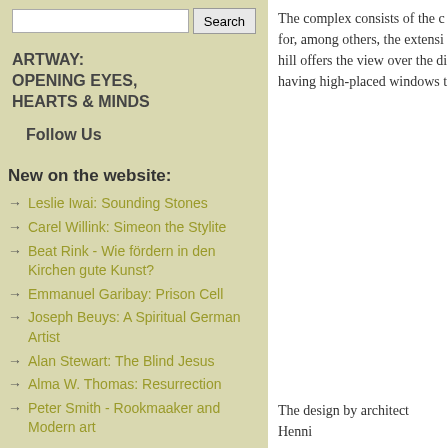The complex consists of the c for, among others, the extensi hill offers the view over the di having high-placed windows t
Search
ARTWAY:
OPENING EYES,
HEARTS & MINDS
Follow Us
New on the website:
Leslie Iwai: Sounding Stones
Carel Willink: Simeon the Stylite
Beat Rink - Wie fördern in den Kirchen gute Kunst?
Emmanuel Garibay: Prison Cell
Joseph Beuys: A Spiritual German Artist
Alan Stewart: The Blind Jesus
Alma W. Thomas: Resurrection
Peter Smith - Rookmaaker and Modern art
The design by architect Henni